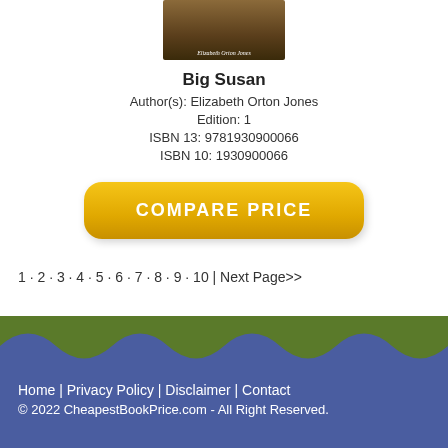[Figure (photo): Book cover of Big Susan by Elizabeth Orton Jones]
Big Susan
Author(s): Elizabeth Orton Jones
Edition: 1
ISBN 13: 9781930900066
ISBN 10: 1930900066
COMPARE PRICE
1 · 2 · 3 · 4 · 5 · 6 · 7 · 8 · 9 · 10 | Next Page>>
Home | Privacy Policy | Disclaimer | Contact
© 2022 CheapestBookPrice.com - All Right Reserved.